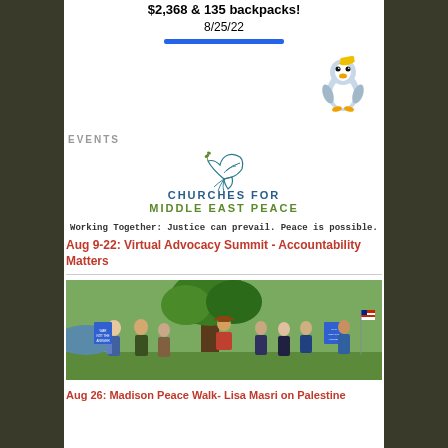$2,368 & 135 backpacks!
8/25/22
EVENTS
[Figure (logo): Churches for Middle East Peace dove logo with text 'CHURCHES FOR MIDDLE EAST PEACE']
Working Together: Justice can prevail. Peace is possible.
Aug 9-22: Virtual Advocacy Summit - Accountability Matters
[Figure (photo): Group of people standing outdoors on grass holding signs reading 'WAR NOT THE ANSWER' and other peace signs, trees and water in the background]
Aug 26: Madison Peace Walk- Lisa Masri on Palestine